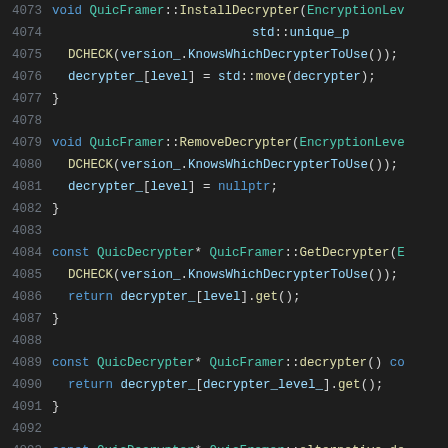[Figure (screenshot): Source code viewer showing C++ code lines 4073–4094 for QuicFramer class methods: InstallDecrypter, RemoveDecrypter, GetDecrypter, decrypter(), and alternative_de... with syntax highlighting on dark background.]